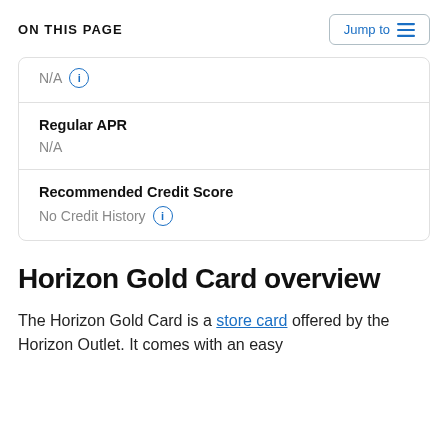ON THIS PAGE
N/A
Regular APR
N/A
Recommended Credit Score
No Credit History
Horizon Gold Card overview
The Horizon Gold Card is a store card offered by the Horizon Outlet. It comes with an easy